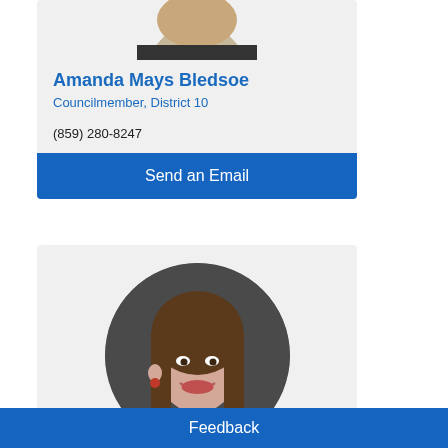[Figure (photo): Partial circular portrait photo of Amanda Mays Bledsoe at the top of the card, showing hair and upper face]
Amanda Mays Bledsoe
Councilmember, District 10
(859) 280-8247
Send an Email
[Figure (photo): Circular portrait photo of a young woman with brown hair, red earrings, and a red top, smiling, against a dark background]
Feedback